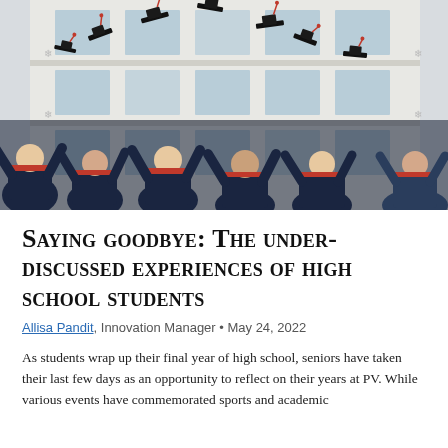[Figure (photo): Graduation ceremony photo showing students in dark blue gowns with red trim throwing their mortarboard caps into the air in front of a white multi-story building with large windows.]
Saying goodbye: The under-discussed experiences of high school students
Allisa Pandit, Innovation Manager • May 24, 2022
As students wrap up their final year of high school, seniors have taken their last few days as an opportunity to reflect on their years at PV. While various events have commemorated sports and academic...